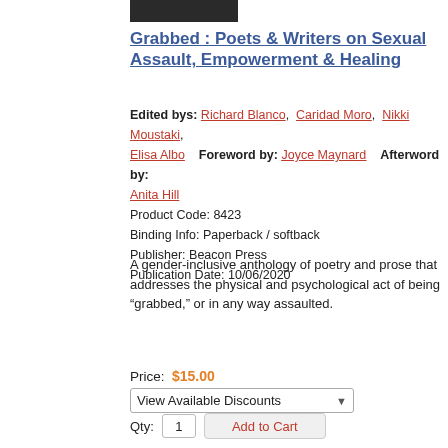[Figure (photo): Book cover image thumbnail (dark/black rectangle)]
Grabbed : Poets & Writers on Sexual Assault, Empowerment & Healing
Edited bys: Richard Blanco, Caridad Moro, Nikki Moustaki, Elisa Albo   Foreword by: Joyce Maynard   Afterword by: Anita Hill
Product Code: 8423
Binding Info: Paperback / softback
Publisher: Beacon Press
Publication Date: 10/06/2020
A gender-inclusive anthology of poetry and prose that addresses the physical and psychological act of being “grabbed,” or in any way assaulted.
Price: $15.00
View Available Discounts
Qty: 1   Add to Cart